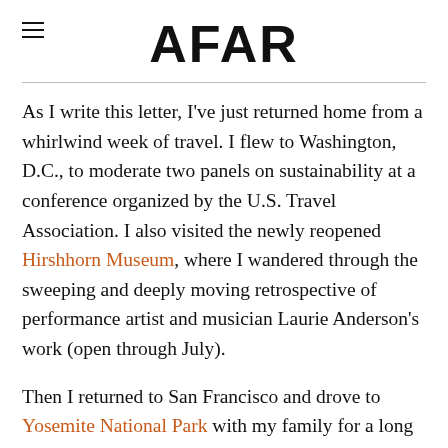AFAR
As I write this letter, I've just returned home from a whirlwind week of travel. I flew to Washington, D.C., to moderate two panels on sustainability at a conference organized by the U.S. Travel Association. I also visited the newly reopened Hirshhorn Museum, where I wandered through the sweeping and deeply moving retrospective of performance artist and musician Laurie Anderson's work (open through July).
Then I returned to San Francisco and drove to Yosemite National Park with my family for a long weekend of exploration and relaxation. Crowds were